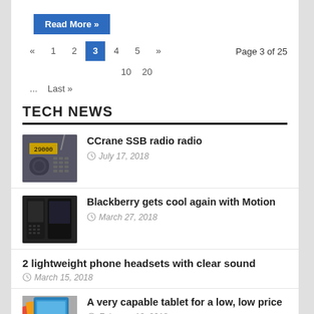Read More »
« 1 2 3 4 5 » Page 3 of 25
10 20
... Last »
TECH NEWS
CCrane SSB radio radio
July 17, 2018
Blackberry gets cool again with Motion
March 27, 2018
2 lightweight phone headsets with clear sound
March 15, 2018
A very capable tablet for a low, low price
February 13, 2018